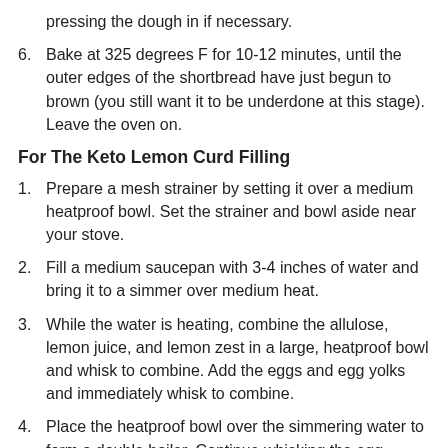pressing the dough in if necessary.
6. Bake at 325 degrees F for 10-12 minutes, until the outer edges of the shortbread have just begun to brown (you still want it to be underdone at this stage). Leave the oven on.
For The Keto Lemon Curd Filling
1. Prepare a mesh strainer by setting it over a medium heatproof bowl. Set the strainer and bowl aside near your stove.
2. Fill a medium saucepan with 3-4 inches of water and bring it to a simmer over medium heat.
3. While the water is heating, combine the allulose, lemon juice, and lemon zest in a large, heatproof bowl and whisk to combine. Add the eggs and egg yolks and immediately whisk to combine.
4. Place the heatproof bowl over the simmering water to form a double boiler. Continue whisking the egg mixture constantly. The allulose will gradually dissolve and then the mixture will begin to thicken. The curd is done cooking when it has reached 160 degrees F and is the consistency of sour cream or full-fat yogurt.